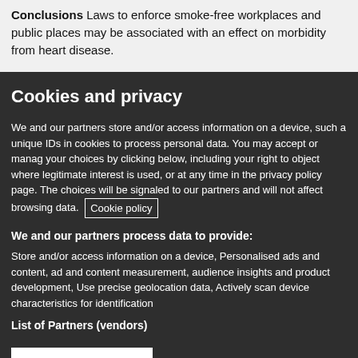Conclusions Laws to enforce smoke-free workplaces and public places may be associated with an effect on morbidity from heart disease.
Cookies and privacy
We and our partners store and/or access information on a device, such as unique IDs in cookies to process personal data. You may accept or manage your choices by clicking below, including your right to object where legitimate interest is used, or at any time in the privacy policy page. These choices will be signaled to our partners and will not affect browsing data. Cookie policy
We and our partners process data to provide:
Store and/or access information on a device, Personalised ads and content, ad and content measurement, audience insights and product development, Use precise geolocation data, Actively scan device characteristics for identification
List of Partners (vendors)